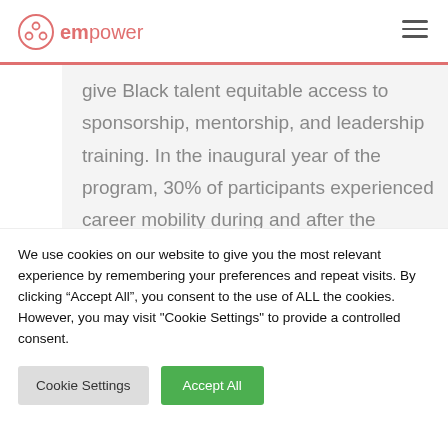empower
give Black talent equitable access to sponsorship, mentorship, and leadership training. In the inaugural year of the program, 30% of participants experienced career mobility during and after the program.
We use cookies on our website to give you the most relevant experience by remembering your preferences and repeat visits. By clicking “Accept All”, you consent to the use of ALL the cookies. However, you may visit "Cookie Settings" to provide a controlled consent.
Cookie Settings
Accept All